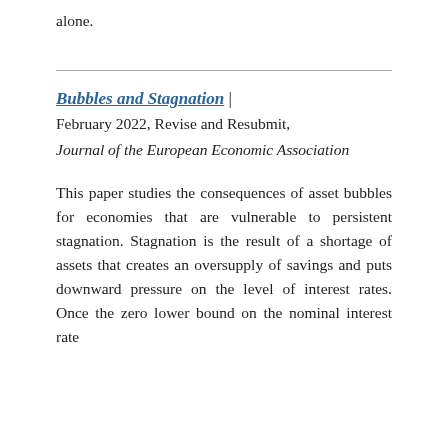alone.
Bubbles and Stagnation | February 2022, Revise and Resubmit, Journal of the European Economic Association
This paper studies the consequences of asset bubbles for economies that are vulnerable to persistent stagnation. Stagnation is the result of a shortage of assets that creates an oversupply of savings and puts downward pressure on the level of interest rates. Once the zero lower bound on the nominal interest rate